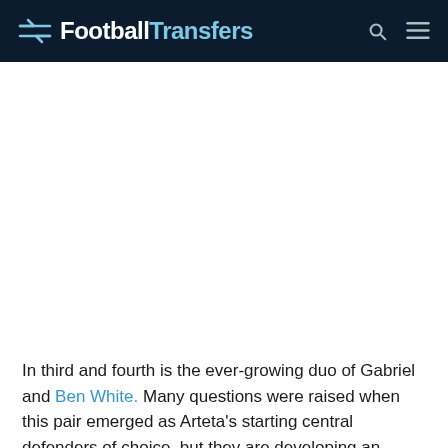FootballTransfers
In third and fourth is the ever-growing duo of Gabriel and Ben White. Many questions were raised when this pair emerged as Arteta's starting central defenders of choice, but they are developing an excellent partnership and that is